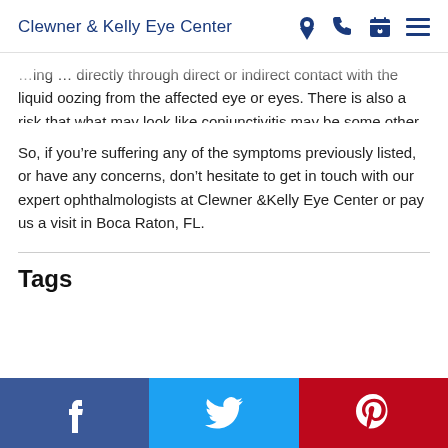Clewner & Kelly Eye Center
direct or indirect contact with the liquid oozing from the affected eye or eyes. There is also a risk that what may look like conjunctivitis may be some other condition.
So, if you’re suffering any of the symptoms previously listed, or have any concerns, don’t hesitate to get in touch with our expert ophthalmologists at Clewner &Kelly Eye Center or pay us a visit in Boca Raton, FL.
Tags